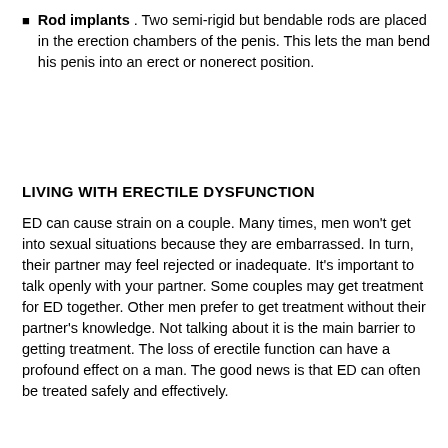Rod implants . Two semi-rigid but bendable rods are placed in the erection chambers of the penis. This lets the man bend his penis into an erect or nonerect position.
LIVING WITH ERECTILE DYSFUNCTION
ED can cause strain on a couple. Many times, men won't get into sexual situations because they are embarrassed. In turn, their partner may feel rejected or inadequate. It's important to talk openly with your partner. Some couples may get treatment for ED together. Other men prefer to get treatment without their partner's knowledge. Not talking about it is the main barrier to getting treatment. The loss of erectile function can have a profound effect on a man. The good news is that ED can often be treated safely and effectively.